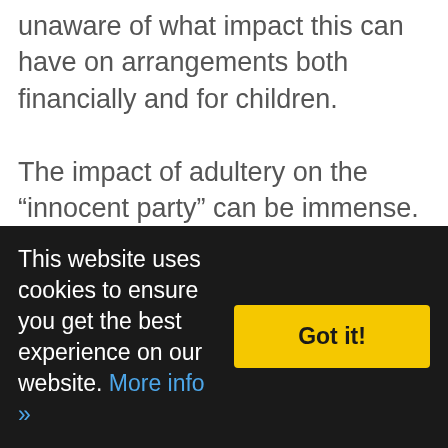unaware of what impact this can have on arrangements both financially and for children. The impact of adultery on the “innocent party” can be immense. This will affect their ability to make decisions or make the right decisions. There can also be a significant impact on the “guilty party” who often wants to try to make amends. This can result in them suggesting arrangements which will not work for them on a longer-term basis. Sometimes, though, an affair may be a symptom of an already
This website uses cookies to ensure you get the best experience on our website. More info »